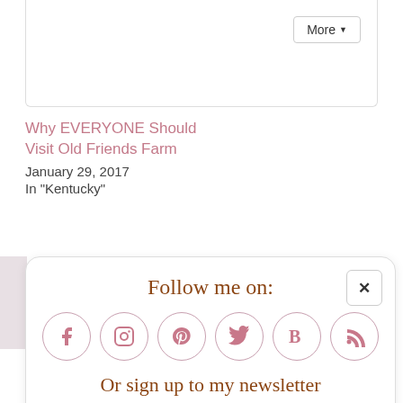More ▼
Why EVERYONE Should Visit Old Friends Farm
January 29, 2017
In "Kentucky"
[Figure (infographic): Follow me on social media popup with icons for Facebook, Instagram, Pinterest, Twitter, Bloglovin, and RSS feed, plus a newsletter signup bar with Subscribe input and Sign Up! button]
Email *